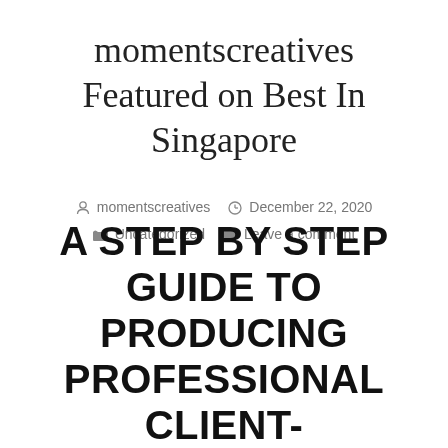momentscreatives Featured on Best In Singapore
momentscreatives  December 22, 2020  Uncategorized  Leave a comment
A STEP BY STEP GUIDE TO PRODUCING PROFESSIONAL CLIENT-